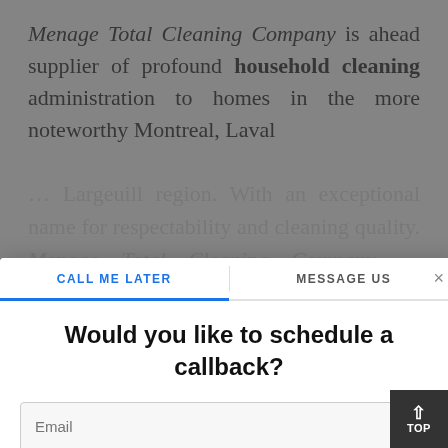Menage Total Cleaning Company is ahead supplier of profound household cleaning administration to homes in the more noteworthy Montreal, Laval ... Largeuill region. With an exceptional name for respectability and cleaning quality. Menage Total Cleaning Company ... detailed cleaning and in addition, janitorial administrations anasie to their customer's individual necessities. Through picking Menage Total Cleaning Company ... rest guaranteed ... of ... extenstive ... prominent ... all amount of
[Figure (screenshot): A modal dialog overlay on a webpage. The modal has two tabs at the top: 'CALL ME LATER' (active, underlined in blue) and 'MESSAGE US'. A close button (×) is in the top right. The modal body contains the heading 'Would you like to schedule a callback?' followed by an Email input field with a mail icon, a phone number field with Canadian flag (+1) and placeholder '204-234-5678', and a date/time selector row showing 'Mon, Aug 29▾' and '13:00 ▾'. In the bottom right corner is a dark scroll-to-top button showing an up arrow and 'TOP'.]